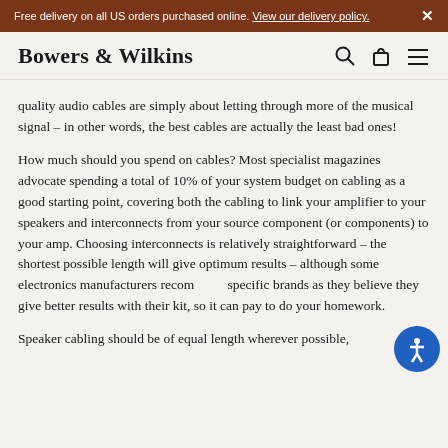Free delivery on all US orders purchased online. View our delivery policy. ×
Bowers & Wilkins
quality audio cables are simply about letting through more of the musical signal – in other words, the best cables are actually the least bad ones!
How much should you spend on cables? Most specialist magazines advocate spending a total of 10% of your system budget on cabling as a good starting point, covering both the cabling to link your amplifier to your speakers and interconnects from your source component (or components) to your amp. Choosing interconnects is relatively straightforward – the shortest possible length will give optimum results – although some electronics manufacturers recommend specific brands as they believe they give better results with their kit, so it can pay to do your homework.
Speaker cabling should be of equal length wherever possible,